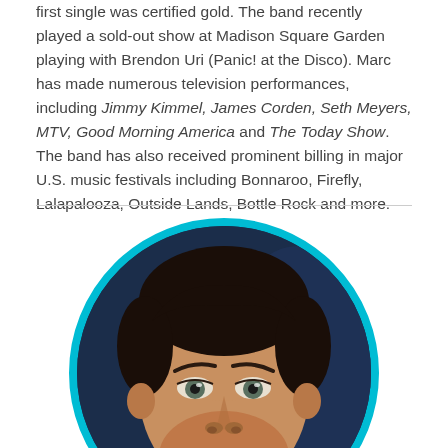first single was certified gold. The band recently played a sold-out show at Madison Square Garden playing with Brendon Uri (Panic! at the Disco). Marc has made numerous television performances, including Jimmy Kimmel, James Corden, Seth Meyers, MTV, Good Morning America and The Today Show. The band has also received prominent billing in major U.S. music festivals including Bonnaroo, Firefly, Lalapalooza, Outside Lands, Bottle Rock and more.
[Figure (photo): Headshot photo of a young man with dark hair, wearing a red shirt, set against a dark blue background, displayed in a circular frame with a cyan/teal border.]